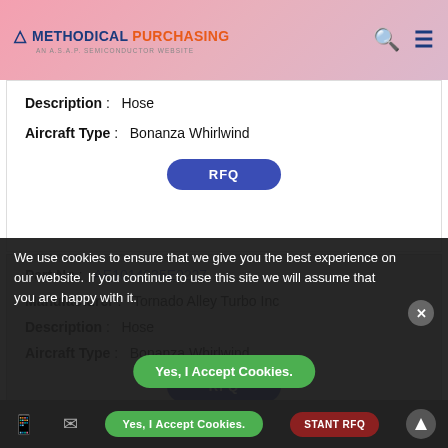Methodical Purchasing - AN A.S.A.P. SEMICONDUCTOR WEBSITE
Description: Hose
Aircraft Type: Bonanza Whirlwind
Part No: AE1014035E0227
Manufacturer: Tornado Alley Turbo Inc
Description: Hose
Aircraft Type: Bonanza Whirlwind
Part No: AE1014035G0200
We use cookies to ensure that we give you the best experience on our website. If you continue to use this site we will assume that you are happy with it.